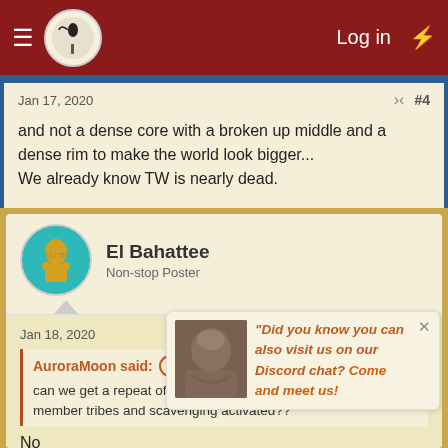Log in
Jan 17, 2020  #4
and not a dense core with a broken up middle and a dense rim to make the world look bigger...
We already know TW is nearly dead.
El Bahattee
Non-stop Poster
Jan 18, 2020  #5
AuroraMoon said:
can we get a repeat of this world with 30% more barbs, 35 member tribes and scavenging activated??
No
Lickety Split
Did you know you can also visit us on our Discord chat? Come and meet us!